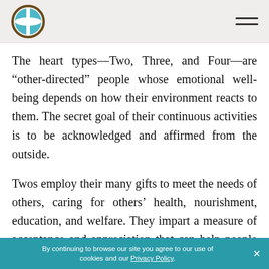[Logo] [Hamburger menu]
The heart types—Two, Three, and Four—are “other-directed” people whose emotional well-being depends on how their environment reacts to them. The secret goal of their continuous activities is to be acknowledged and affirmed from the outside.
Twos employ their many gifts to meet the needs of others, caring for others’ health, nourishment, education, and welfare. They impart a measure of acceptance and appreciation that can help people believe in their own value. Twos can share generously
By continuing to browse our site you agree to our use of cookies and our Privacy Policy.